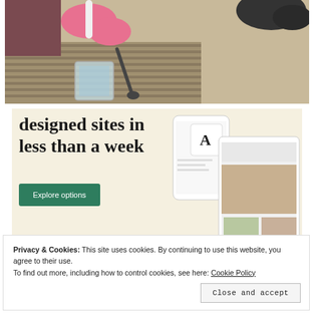[Figure (photo): Top-down photo of a person wearing pink gloves holding a frother over a glass, with a spoon nearby on a striped rug/mat on a sandy floor.]
[Figure (screenshot): Advertisement banner with cream/beige background showing text 'designed sites in less than a week', a green 'Explore options' button, and mockup screenshots of website templates featuring food imagery and an 'A' logo card.]
Privacy & Cookies: This site uses cookies. By continuing to use this website, you agree to their use.
To find out more, including how to control cookies, see here: Cookie Policy
Close and accept